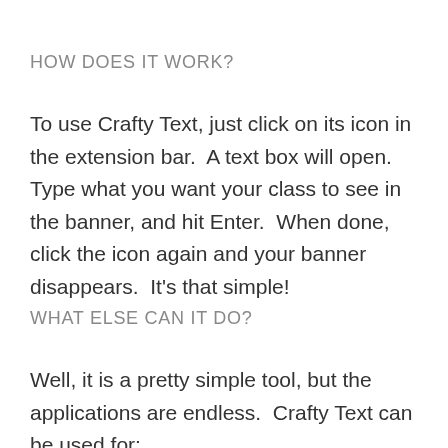HOW DOES IT WORK?
To use Crafty Text, just click on its icon in the extension bar.  A text box will open.  Type what you want your class to see in the banner, and hit Enter.  When done, click the icon again and your banner disappears.  It’s that simple!
WHAT ELSE CAN IT DO?
Well, it is a pretty simple tool, but the applications are endless.  Crafty Text can be used for: